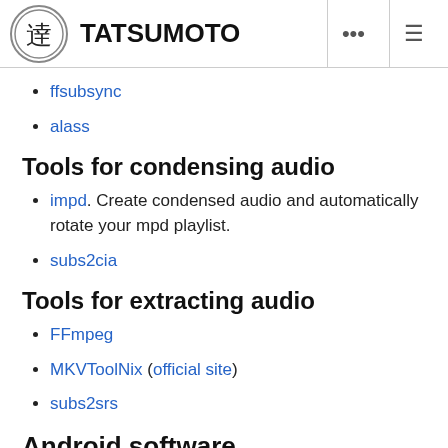TATSUMOTO
ffsubsync
alass
Tools for condensing audio
impd. Create condensed audio and automatically rotate your mpd playlist.
subs2cia
Tools for extracting audio
FFmpeg
MKVToolNix (official site)
subs2srs
Android software